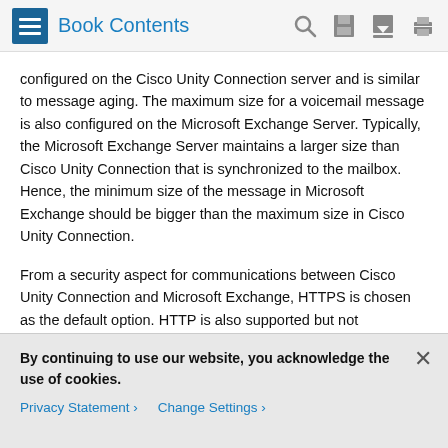Book Contents
configured on the Cisco Unity Connection server and is similar to message aging. The maximum size for a voicemail message is also configured on the Microsoft Exchange Server. Typically, the Microsoft Exchange Server maintains a larger size than Cisco Unity Connection that is synchronized to the mailbox. Hence, the minimum size of the message in Microsoft Exchange should be bigger than the maximum size in Cisco Unity Connection.
From a security aspect for communications between Cisco Unity Connection and Microsoft Exchange, HTTPS is chosen as the default option. HTTP is also supported but not recommended because it reduces security and might also need further configuration on Microsoft Exchange. At the same time, there is an option to validate the Microsoft Exchange certificate,
By continuing to use our website, you acknowledge the use of cookies.
Privacy Statement > Change Settings >